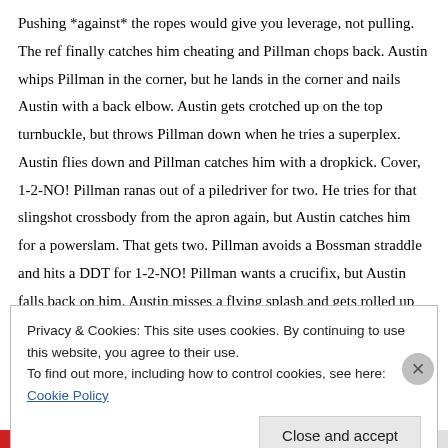Pushing *against* the ropes would give you leverage, not pulling. The ref finally catches him cheating and Pillman chops back. Austin whips Pillman in the corner, but he lands in the corner and nails Austin with a back elbow. Austin gets crotched up on the top turnbuckle, but throws Pillman down when he tries a superplex. Austin flies down and Pillman catches him with a dropkick. Cover, 1-2-NO! Pillman ranas out of a piledriver for two. He tries for that slingshot crossbody from the apron again, but Austin catches him for a powerslam. That gets two. Pillman avoids a Bossman straddle and hits a DDT for 1-2-NO! Pillman wants a crucifix, but Austin falls back on him. Austin misses a flying splash and gets rolled up by Pillman for 1-2-NO! Austin reverses a whip and tries for the STUNGUN, but Pillman counters and
Privacy & Cookies: This site uses cookies. By continuing to use this website, you agree to their use.
To find out more, including how to control cookies, see here: Cookie Policy